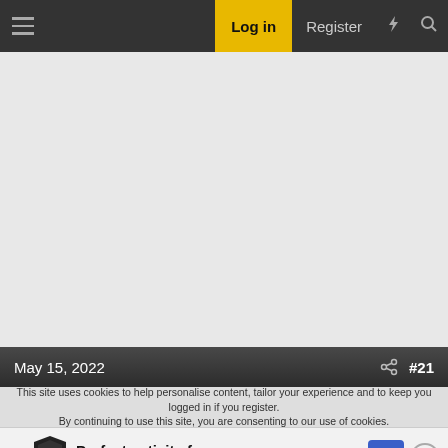Log in | Register
[Figure (screenshot): Gray content area placeholder (forum post image area)]
May 15, 2022  #21
This site uses cookies to help personalise content, tailor your experience and to keep you logged in if you register. By continuing to use this site, you are consenting to our use of cookies.
[Figure (infographic): Advertisement banner: Perfect activity for everyone - Topgolf]